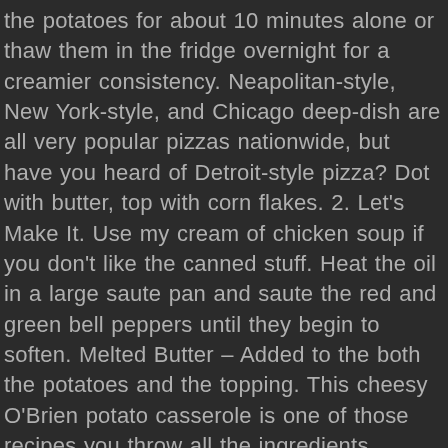the potatoes for about 10 minutes alone or thaw them in the fridge overnight for a creamier consistency. Neapolitan-style, New York-style, and Chicago deep-dish are all very popular pizzas nationwide, but have you heard of Detroit-style pizza? Dot with butter, top with corn flakes. 2. Let's Make It. Use my cream of chicken soup if you don't like the canned stuff. Heat the oil in a large saute pan and saute the red and green bell peppers until they begin to soften. Melted Butter – Added to the both the potatoes and the topping. This cheesy O'Brien potato casserole is one of those recipes you throw all the ingredients together making a quick and easy side dish to take along to any gathering. Combine the 1/2 cup butter, condensed soup, cheese, sour cream, salt and onion; mix well … Buy Now. bag of sharp cheddar in place of the american cheese; any cheese will work, but we prefer the sharper flavor. One thing I do to make life easier is to put the sour cream soup cheese (cut in large chunks) and onions in the food processor and chop away. Let the casserole rest for a bit after you